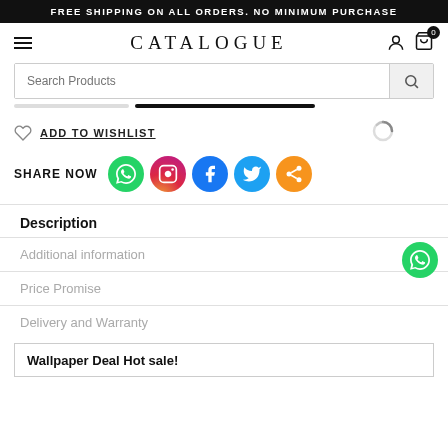FREE SHIPPING ON ALL ORDERS. NO MINIMUM PURCHASE
[Figure (screenshot): Navigation bar with hamburger menu, CATALOGUE logo, user icon, and cart icon with badge 0]
[Figure (screenshot): Search bar with placeholder 'Search Products' and search button]
[Figure (screenshot): Tab bar with inactive and active tab indicators]
ADD TO WISHLIST
SHARE NOW
Description
Additional information
Price Promise
Delivery and Warranty
Wallpaper Deal Hot sale!